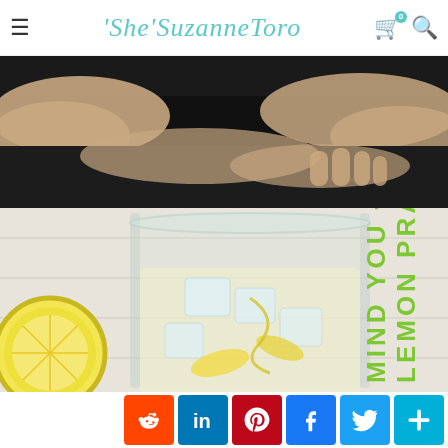She'SuzanneToro
[Figure (photo): Close-up of hands resting on a dark surface, wearing dark clothing]
[Figure (photo): Glass of water with lemon slices and ice, lemon wedges on the side, with green vertical text overlay reading LEMON PRACTICE MIND YOU + FOOD]
[Figure (infographic): Social sharing buttons row: Reddit (orange), LinkedIn (blue), Pinterest (dark red), Facebook (blue), Twitter (light blue), Share (teal/blue)]